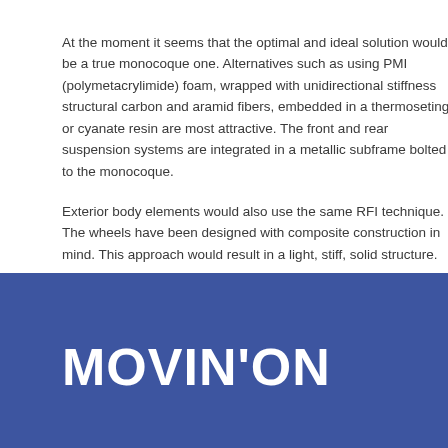At the moment it seems that the optimal and ideal solution would be a true monocoque one. Alternatives such as using PMI (polymetacrylimide) foam, wrapped with unidirectional stiffness structural carbon and aramid fibers, embedded in a thermoseting or cyanate resin are most attractive. The front and rear suspension systems are integrated in a metallic subframe bolted to the monocoque.
Exterior body elements would also use the same RFI technique. The wheels have been designed with composite construction in mind. This approach would result in a light, stiff, solid structure.
[Figure (logo): MOVIN'ON logo in white text on blue background]